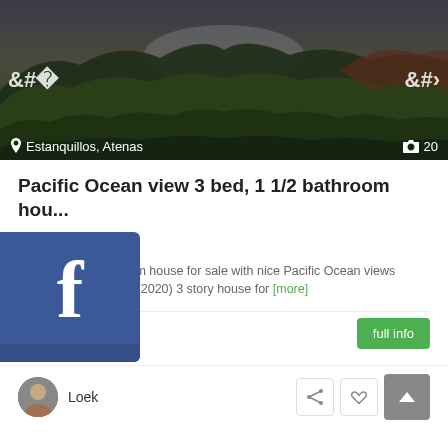[Figure (photo): Aerial/landscape photo of forested mountain valley with mountains in background, dark green jungle foliage, overcast sky. Location label: Estanquillos, Atenas. Photo count: 20.]
Pacific Ocean view 3 bed, 1 1/2 bathroom hou...
9,000
ed-room, 1,5-bathroom house for sale with nice Pacific Ocean views Welcome to this new (2020) 3 story house for [more]
2
full info
Loek